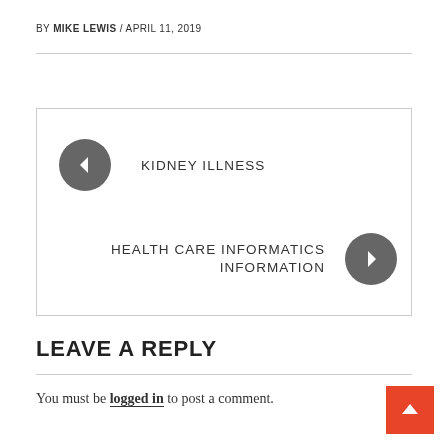BY MIKE LEWIS / APRIL 11, 2019
[Figure (other): Navigation box with previous link (back arrow + KIDNEY ILLNESS) and next link (HEALTH CARE INFORMATICS INFORMATION + forward arrow)]
LEAVE A REPLY
You must be logged in to post a comment.